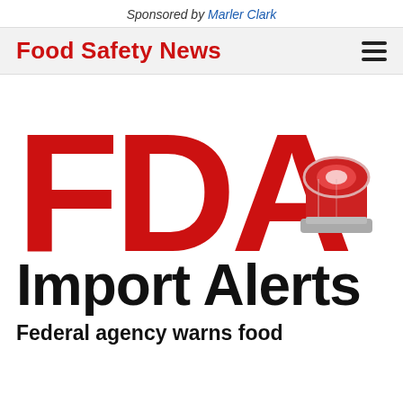Sponsored by Marler Clark
Food Safety News
[Figure (logo): FDA Import Alerts logo — large red 'FDA' letters with a red emergency siren/light icon, and below it 'Import Alerts' in large black bold text]
Federal agency warns food